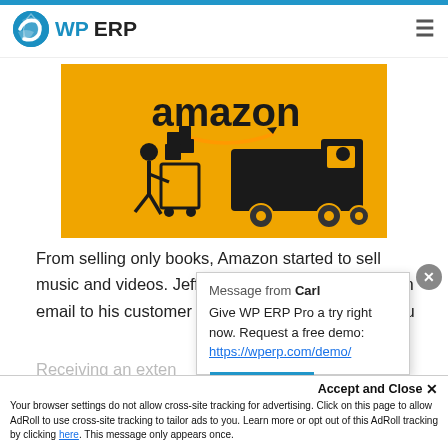[Figure (logo): WP ERP logo with blue globe icon and WP ERP text]
[Figure (illustration): Amazon branded orange/yellow image with person pushing cart of boxes and Amazon delivery truck]
From selling only books, Amazon started to sell music and videos. Jeff Bezos reportedly sent out an email to his customer base asking them prefer to pu
Message from Carl
Give WP ERP Pro a try right now. Request a free demo: https://wperp.com/demo/
Receiving an exten... luding p...
Accept and Close ×
Your browser settings do not allow cross-site tracking for advertising. Click on this page to allow AdRoll to use cross-site tracking to tailor ads to you. Learn more or opt out of this AdRoll tracking by clicking here. This message only appears once.